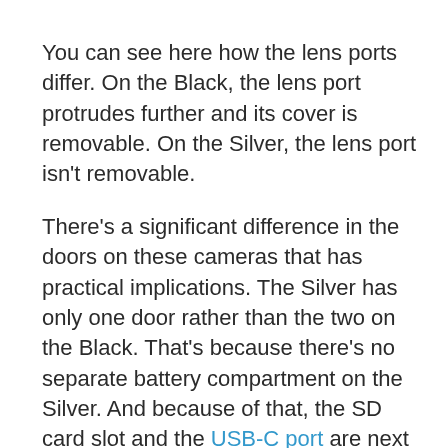You can see here how the lens ports differ. On the Black, the lens port protrudes further and its cover is removable. On the Silver, the lens port isn't removable.
There's a significant difference in the doors on these cameras that has practical implications. The Silver has only one door rather than the two on the Black. That's because there's no separate battery compartment on the Silver. And because of that, the SD card slot and the USB-C port are next to each other.